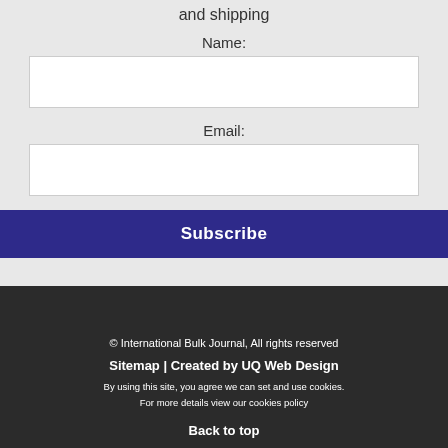and shipping
Name:
Email:
Subscribe
© International Bulk Journal, All rights reserved
Sitemap | Created by UQ Web Design
By using this site, you agree we can set and use cookies.
For more details view our cookies policy
Back to top